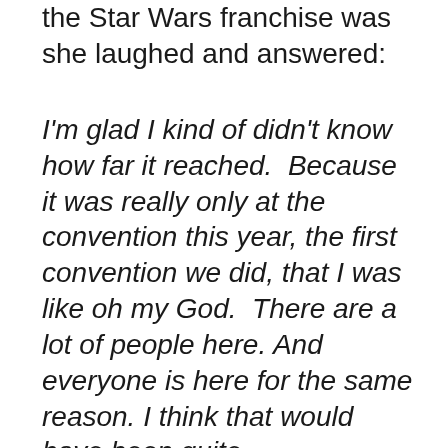the Star Wars franchise was she laughed and answered:
I'm glad I kind of didn't know how far it reached.  Because it was really only at the convention this year, the first convention we did, that I was like oh my God.  There are a lot of people here. And everyone is here for the same reason. I think that would have been quite overwhelming if I had been dealing with that while also dealing with the fact that I'm just a young girl being thrust into this thing, I don't quite know why I'm here and all that kind of stuff.  I was already dealing with that so I'm glad that I wasn't